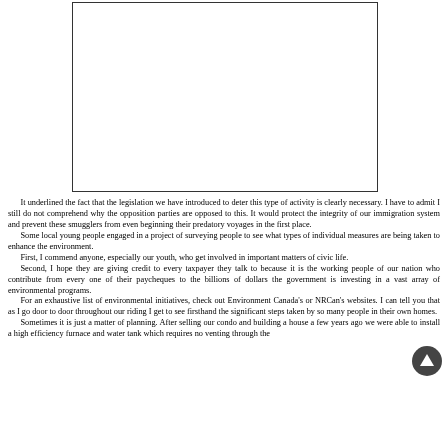[Figure (other): Empty white rectangle with a black border, likely a placeholder for an image or photograph.]
It underlined the fact that the legislation we have introduced to deter this type of activity is clearly necessary. I have to admit I still do not comprehend why the opposition parties are opposed to this. It would protect the integrity of our immigration system and prevent these smugglers from even beginning their predatory voyages in the first place.
    Some local young people engaged in a project of surveying people to see what types of individual measures are being taken to enhance the environment.
    First, I commend anyone, especially our youth, who get involved in important matters of civic life.
    Second, I hope they are giving credit to every taxpayer they talk to because it is the working people of our nation who contribute from every one of their paycheques to the billions of dollars the government is investing in a vast array of environmental programs.
    For an exhaustive list of environmental initiatives, check out Environment Canada's or NRCan's websites. I can tell you that as I go door to door throughout our riding I get to see firsthand the significant steps taken by so many people in their own homes.
    Sometimes it is just a matter of planning. After selling our condo and building a house a few years ago we were able to install a high efficiency furnace and water tank which requires no venting through the